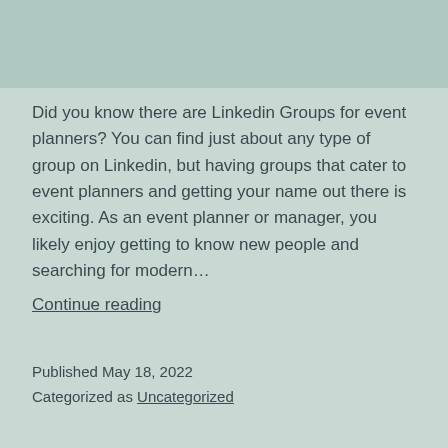[Figure (photo): Image placeholder at top of page]
Did you know there are Linkedin Groups for event planners? You can find just about any type of group on Linkedin, but having groups that cater to event planners and getting your name out there is exciting. As an event planner or manager, you likely enjoy getting to know new people and searching for modern… Continue reading
Published May 18, 2022
Categorized as Uncategorized